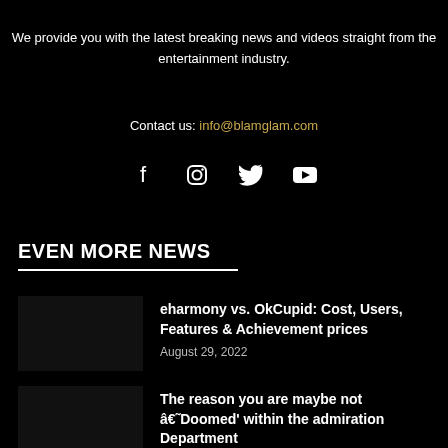We provide you with the latest breaking news and videos straight from the entertainment industry.
Contact us: info@blamglam.com
[Figure (infographic): Social media icons: Facebook, Instagram, Twitter, YouTube]
EVEN MORE NEWS
eharmony vs. OkCupid: Cost, Users, Features & Achievement prices
August 29, 2022
The reason you are maybe not â€˜Doomed' within the admiration Department
August 29, 2022